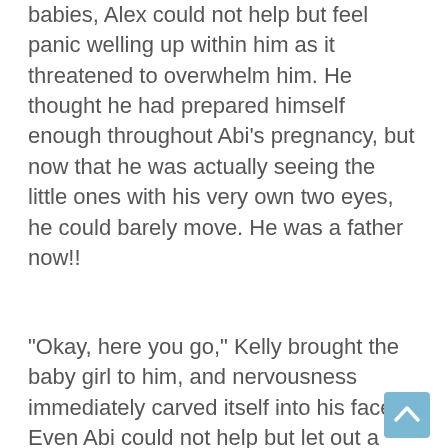babies, Alex could not help but feel panic welling up within him as it threatened to overwhelm him. He thought he had prepared himself enough throughout Abi's pregnancy, but now that he was actually seeing the little ones with his very own two eyes, he could barely move. He was a father now!!
"Okay, here you go," Kelly brought the baby girl to him, and nervousness immediately carved itself into his face. Even Abi could not help but let out a slight laugh at the sight of Alex's panic filled face.
"It's okay, Alex." Abi told him and Alex looked at her. Their baby boy was already in her arms, nursing at her breast.
Kelly instructed him on how to carry the baby and then she slowly placed the cute baby girl